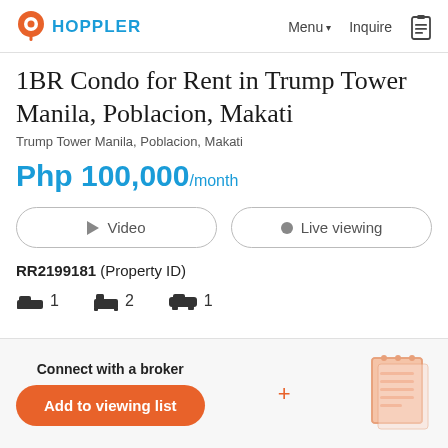HOPPLER — Menu ▾  Inquire
1BR Condo for Rent in Trump Tower Manila, Poblacion, Makati
Trump Tower Manila, Poblacion, Makati
Php 100,000/month
▶ Video   ● Live viewing
RR2199181 (Property ID)
🛏 1   🚿 2   🚗 1
Connect with a broker
Add to viewing list +